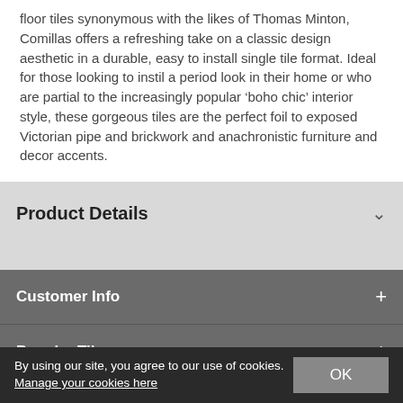floor tiles synonymous with the likes of Thomas Minton, Comillas offers a refreshing take on a classic design aesthetic in a durable, easy to install single tile format. Ideal for those looking to instil a period look in their home or who are partial to the increasingly popular ‘boho chic’ interior style, these gorgeous tiles are the perfect foil to exposed Victorian pipe and brickwork and anachronistic furniture and decor accents.
Product Details
Customer Info
Popular Tiles
By using our site, you agree to our use of cookies. Manage your cookies here